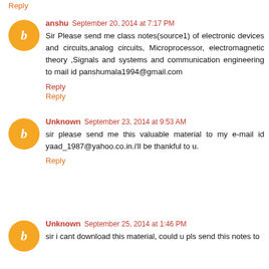Reply
anshu  September 20, 2014 at 7:17 PM
Sir Please send me class notes(source1) of electronic devices and circuits,analog circuits, Microprocessor, electromagnetic theory ,Signals and systems and communication engineering to mail id panshumala1994@gmail.com
Reply
Reply
Unknown  September 23, 2014 at 9:53 AM
sir please send me this valuable material to my e-mail id yaad_1987@yahoo.co.in.i'll be thankful to u.
Reply
Unknown  September 25, 2014 at 1:46 PM
sir i cant download this material, could u pls send this notes to